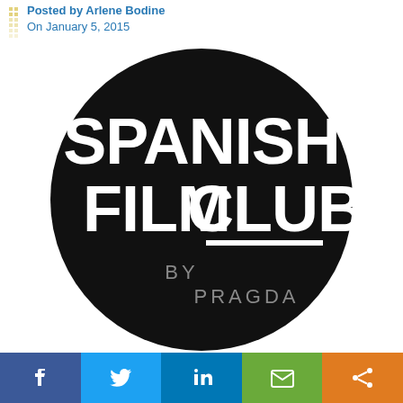Posted by Arlene Bodine
On January 5, 2015
[Figure (logo): Spanish Film Club by Pragda logo — white bold text on black circle background]
[Figure (infographic): Social share bar with Facebook, Twitter, LinkedIn, Email, and Share buttons]